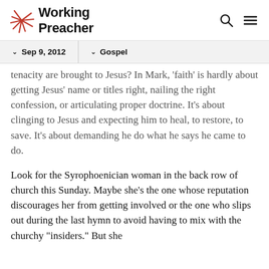Working Preacher
Sep 9, 2012   Gospel
tenacity are brought to Jesus? In Mark, 'faith' is hardly about getting Jesus' name or titles right, nailing the right confession, or articulating proper doctrine. It's about clinging to Jesus and expecting him to heal, to restore, to save. It's about demanding he do what he says he came to do.
Look for the Syrophoenician woman in the back row of church this Sunday. Maybe she's the one whose reputation discourages her from getting involved or the one who slips out during the last hymn to avoid having to mix with the churchy "insiders." But she